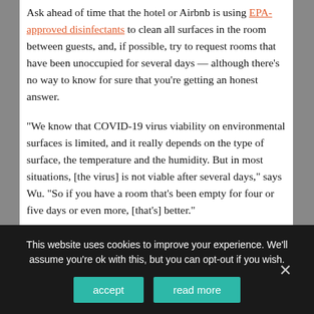Ask ahead of time that the hotel or Airbnb is using EPA-approved disinfectants to clean all surfaces in the room between guests, and, if possible, try to request rooms that have been unoccupied for several days — although there's no way to know for sure that you're getting an honest answer.
“We know that COVID-19 virus viability on environmental surfaces is limited, and it really depends on the type of surface, the temperature and the humidity. But in most situations, [the virus] is not viable after several days,” says Wu. “So if you have a room that's been empty for four or five days or even more, [that's] better.”
It's also a good idea to bring your own alcohol wipes for the...
This website uses cookies to improve your experience. We'll assume you're ok with this, but you can opt-out if you wish.